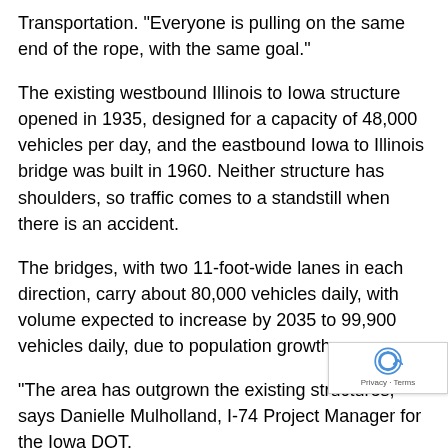Transportation. "Everyone is pulling on the same end of the rope, with the same goal."
The existing westbound Illinois to Iowa structure opened in 1935, designed for a capacity of 48,000 vehicles per day, and the eastbound Iowa to Illinois bridge was built in 1960. Neither structure has shoulders, so traffic comes to a standstill when there is an accident.
The bridges, with two 11-foot-wide lanes in each direction, carry about 80,000 vehicles daily, with volume expected to increase by 2035 to 99,900 vehicles daily, due to population growth.
"The area has outgrown the existing structures," says Danielle Mulholland, I-74 Project Manager for the Iowa DOT.
The Iowa and Illinois departments of transportation are jointly building the project. The new bridge will be built east